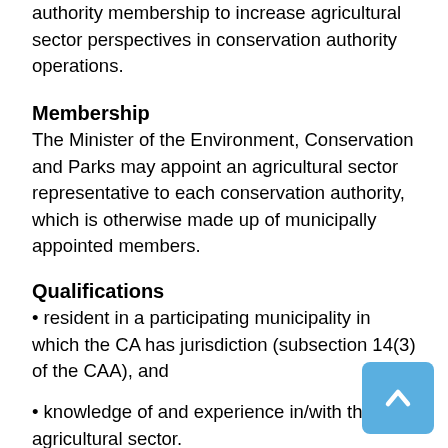authority membership to increase agricultural sector perspectives in conservation authority operations.
Membership
The Minister of the Environment, Conservation and Parks may appoint an agricultural sector representative to each conservation authority, which is otherwise made up of municipally appointed members.
Qualifications
• resident in a participating municipality in which the CA has jurisdiction (subsection 14(3) of the CAA), and
• knowledge of and experience in/with the local agricultural sector.
Term
Agricultural sector representative members are appointed by Minister's letter for a term of up to four (4) years, as may be determined by the Minister, in